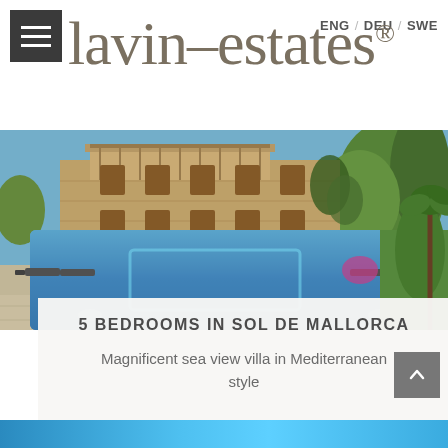ENG / DEU / SWE
lavin-estates®
[Figure (photo): Outdoor swimming pool with blue mosaic tiles in front of a large Mediterranean-style stone villa, sunny day with green trees in the background]
5 BEDROOMS IN SOL DE MALLORCA
Magnificent sea view villa in Mediterranean style